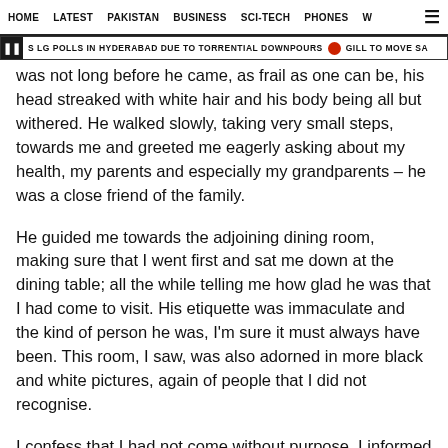HOME   LATEST   PAKISTAN   BUSINESS   SCI-TECH   PHONES   W  ☰
S LG POLLS IN HYDERABAD DUE TO TORRENTIAL DOWNPOURS  •  GILL TO MOVE SA
was not long before he came, as frail as one can be, his head streaked with white hair and his body being all but withered. He walked slowly, taking very small steps, towards me and greeted me eagerly asking about my health, my parents and especially my grandparents – he was a close friend of the family.
He guided me towards the adjoining dining room, making sure that I went first and sat me down at the dining table; all the while telling me how glad he was that I had come to visit. His etiquette was immaculate and the kind of person he was, I'm sure it must always have been. This room, I saw, was also adorned in more black and white pictures, again of people that I did not recognise.
I confess that I had not come without purpose. I informed